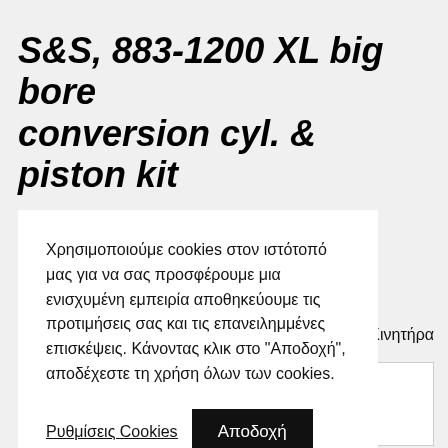S&S, 883-1200 XL big bore conversion cyl. & piston kit
Χρησιμοποιούμε cookies στον ιστότοπό μας για να σας προσφέρουμε μια ενισχυμένη εμπειρία αποθηκεύουμε τις προτιμήσεις σας και τις επανειλημμένες επισκέψεις. Κάνοντας κλικ στο "Αποδοχή", αποδέχεστε τη χρήση όλων των cookies.
κτικά Κινητήρα